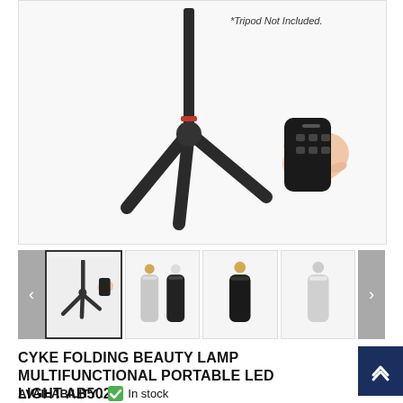[Figure (photo): Main product image showing a folding beauty lamp with tripod stand and a hand holding a remote control. Text overlay: '*Tripod Not Included.']
[Figure (photo): Thumbnail 1 (active/selected): Product photos collage with tripod and remote]
[Figure (photo): Thumbnail 2: Two lamp tubes side by side (silver and black)]
[Figure (photo): Thumbnail 3: Single black lamp tube with small icon]
[Figure (photo): Thumbnail 4: Single silver/white lamp tube with small icon]
CYKE FOLDING BEAUTY LAMP MULTIFUNCTIONAL PORTABLE LED LIGHT AB502
AVAILABILITY : ✅ In stock